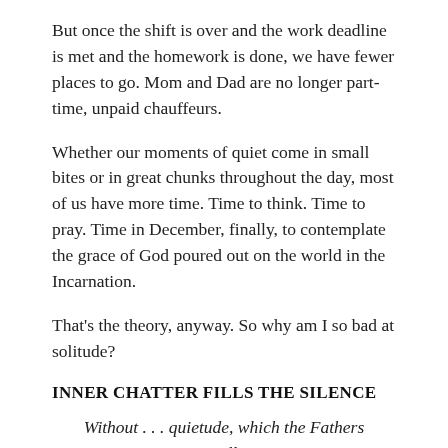But once the shift is over and the work deadline is met and the homework is done, we have fewer places to go. Mom and Dad are no longer part-time, unpaid chauffeurs.
Whether our moments of quiet come in small bites or in great chunks throughout the day, most of us have more time. Time to think. Time to pray. Time in December, finally, to contemplate the grace of God poured out on the world in the Incarnation.
That's the theory, anyway. So why am I so bad at solitude?
INNER CHATTER FILLS THE SILENCE
Without . . . quietude, which the Fathers call